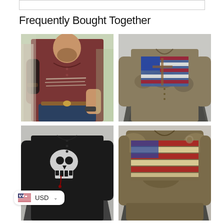Frequently Bought Together
[Figure (photo): Man wearing burgundy long-sleeve Henley shirt with distressed American flag print, posing outdoors]
[Figure (photo): Tactical/camouflage long-sleeve Henley shirt with American flag and cross graphic, displayed on foggy forest background]
[Figure (photo): Black long-sleeve Henley shirt with Punisher skull graphic, displayed on foggy background]
[Figure (photo): Olive/tan long-sleeve shirt with distressed American flag horizontal stripe print]
USD